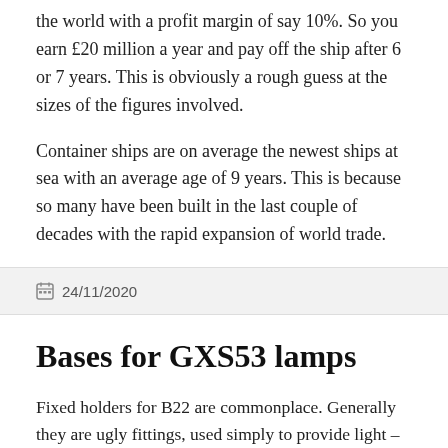the world with a profit margin of say 10%. So you earn £20 million a year and pay off the ship after 6 or 7 years. This is obviously a rough guess at the sizes of the figures involved.
Container ships are on average the newest ships at sea with an average age of 9 years. This is because so many have been built in the last couple of decades with the rapid expansion of world trade.
24/11/2020
Bases for GXS53 lamps
Fixed holders for B22 are commonplace. Generally they are ugly fittings, used simply to provide light –